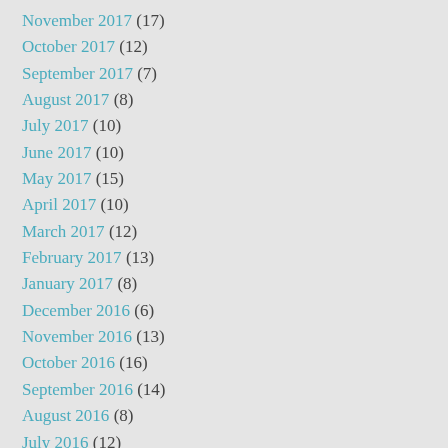November 2017 (17)
October 2017 (12)
September 2017 (7)
August 2017 (8)
July 2017 (10)
June 2017 (10)
May 2017 (15)
April 2017 (10)
March 2017 (12)
February 2017 (13)
January 2017 (8)
December 2016 (6)
November 2016 (13)
October 2016 (16)
September 2016 (14)
August 2016 (8)
July 2016 (12)
June 2016 (19)